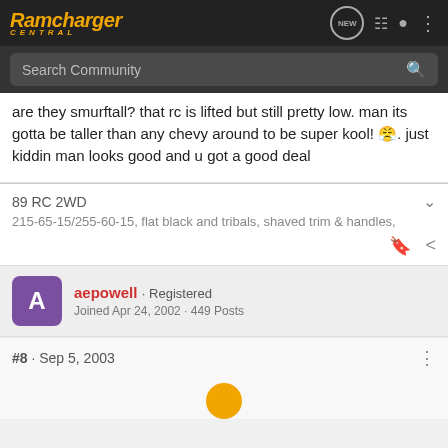Ramcharger Central
are they smurftall? that rc is lifted but still pretty low. man its gotta be taller than any chevy around to be super kool! 😤. just kiddin man looks good and u got a good deal
89 RC 2WD
215-65-15/255-60-15, flat black and tribals, shaved trim & handles,
aepowell · Registered
Joined Apr 24, 2002 · 449 Posts
#8 · Sep 5, 2003